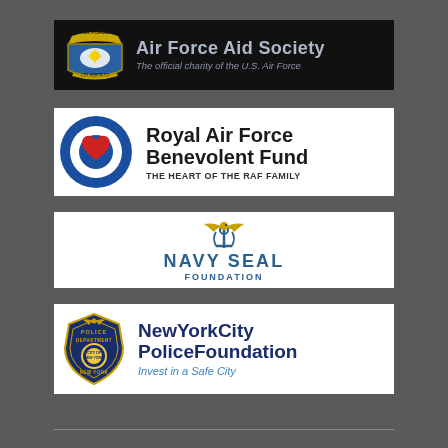[Figure (logo): Air Force Aid Society logo — shield emblem on black background with text 'Air Force Aid Society' and subtitle 'The official charity of the U.S. Air Force']
[Figure (logo): Royal Air Force Benevolent Fund logo — blue and white RAF roundel with red heart, text 'Royal Air Force Benevolent Fund' and 'THE HEART OF THE RAF FAMILY']
[Figure (logo): Navy SEAL Foundation logo — eagle emblem above text 'NAVY SEAL FOUNDATION']
[Figure (logo): New York City Police Foundation logo — NYPD badge with text 'NewYorkCity PoliceFoundation' and 'Invest in a Safe City']